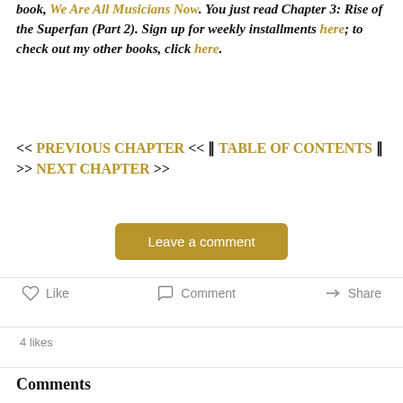book, We Are All Musicians Now. You just read Chapter 3: Rise of the Superfan (Part 2). Sign up for weekly installments here; to check out my other books, click here.
<< PREVIOUS CHAPTER << || TABLE OF CONTENTS || >> NEXT CHAPTER >>
Leave a comment
Like   Comment   Share
4 likes
Comments